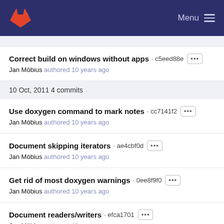Menu
Correct build on windows without apps · c5eed88e
Jan Möbius authored 10 years ago
10 Oct, 2011 4 commits
Use doxygen command to mark notes · cc7141f2
Jan Möbius authored 10 years ago
Document skipping iterators · ae4cbf0d
Jan Möbius authored 10 years ago
Get rid of most doxygen warnings · 0ee8f9f0
Jan Möbius authored 10 years ago
Document readers/writers · efca1701
Jan Möbius authored 10 years ago
07 Oct, 2011 1 commit